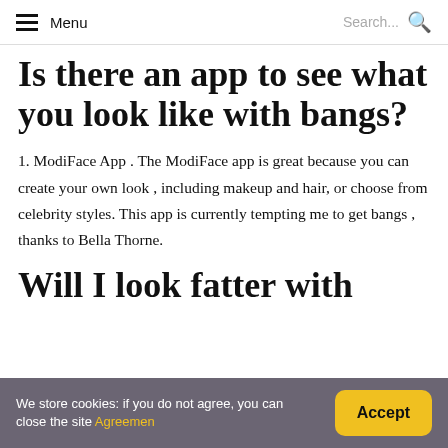Menu | Search...
Is there an app to see what you look like with bangs?
1. ModiFace App . The ModiFace app is great because you can create your own look , including makeup and hair, or choose from celebrity styles. This app is currently tempting me to get bangs , thanks to Bella Thorne.
Will I look fatter with
We store cookies: if you do not agree, you can close the site Agreemen